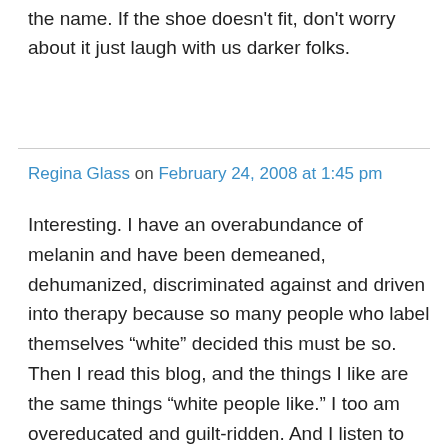the name. If the shoe doesn't fit, don't worry about it just laugh with us darker folks.
Regina Glass on February 24, 2008 at 1:45 pm
Interesting. I have an overabundance of melanin and have been demeaned, dehumanized, discriminated against and driven into therapy because so many people who label themselves “white” decided this must be so. Then I read this blog, and the things I like are the same things “white people like.” I too am overeducated and guilt-ridden. And I listen to Dan Fogelberg (30+ years, baby!) and watch films and cinema, not movies. I must be white! So, if I like all the same things (except for hiphop, which I can’t stand —